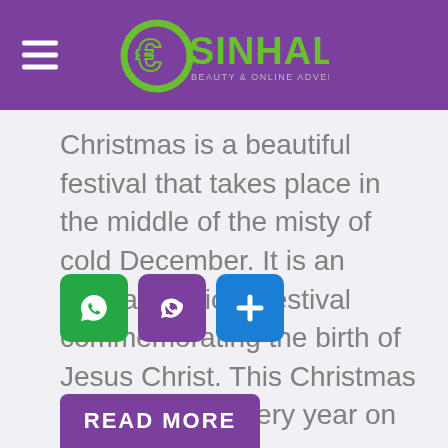ESINHALA
Christmas is a beautiful festival that takes place in the middle of the misty of cold December. It is an annual religious festival commemorating the birth of Jesus Christ. This Christmas is celebrated every year on December 25th as a religious and cultural celebration by millions of people around the world.
[Figure (infographic): Three social sharing buttons: WhatsApp (green), Viber (purple), and a blue plus/share button]
[Figure (other): READ MORE button (purple, partially visible at bottom)]